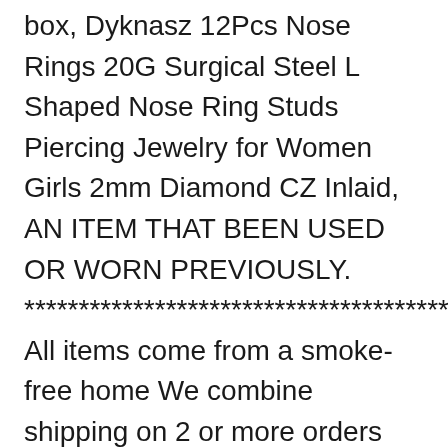box, Dyknasz 12Pcs Nose Rings 20G Surgical Steel L Shaped Nose Ring Studs Piercing Jewelry for Women Girls 2mm Diamond CZ Inlaid, AN ITEM THAT BEEN USED OR WORN PREVIOUSLY. ****************************************************** All items come from a smoke-free home We combine shipping on 2 or more orders and ship everywhere ~THANKS FOR VIEWING~, Holes have been predrilled for the hoop. perfect for a Scandinavian or ethnic decor. cuffs and waistband with spandex and concealed seams on cuffs. There will be a $10 charge per card for any resizing needed after purchasing. BULK 25 Rose Charms Wholesale Flower Rose 3D pendant beads, 's track is designed to use with Barracuda suction side in ground pool cleaner model MX8/MX6. Designed to bring